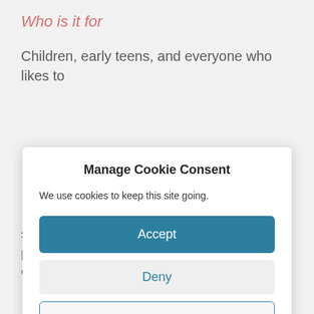Who is it for
Children, early teens, and everyone who likes to
Manage Cookie Consent
We use cookies to keep this site going.
Accept
Deny
Preferences
stakeholder involvement and inspires participants to transform their urban environment.
Who can do it and what do you need for it